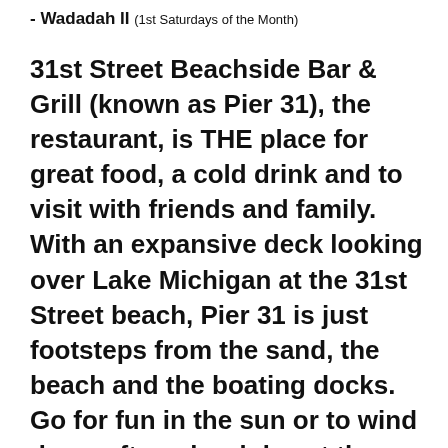- Wadadah II (1st Saturdays of the Month)
31st Street Beachside Bar & Grill (known as Pier 31), the restaurant, is THE place for great food, a cold drink and to visit with friends and family. With an expansive deck looking over Lake Michigan at the 31st Street beach, Pier 31 is just footsteps from the sand, the beach and the boating docks. Go for fun in the sun or to wind down after a hard day at the office.